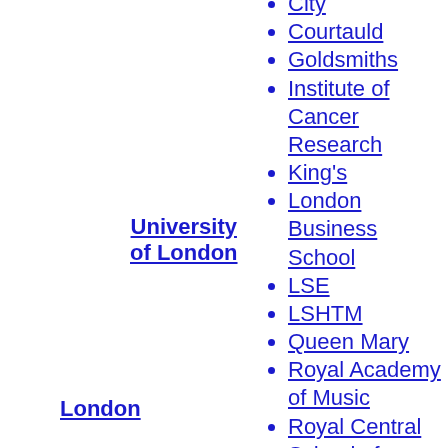Birkbeck
City
Courtauld
Goldsmiths
Institute of Cancer Research
King's
London Business School
LSE
LSHTM
Queen Mary
Royal Academy of Music
Royal Central School of Speech and Drama
Royal Holloway
Royal Veterinary College
School of Advanced Study
St George's
SOAS
UCL
University of London
London